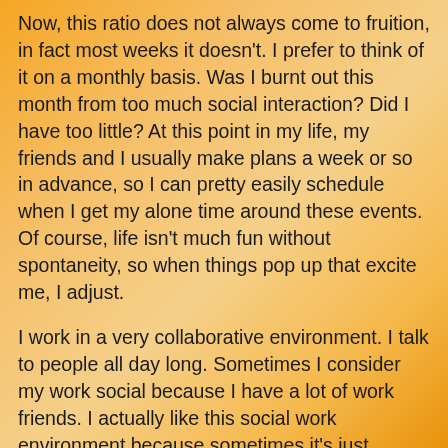Now, this ratio does not always come to fruition, in fact most weeks it doesn't. I prefer to think of it on a monthly basis. Was I burnt out this month from too much social interaction? Did I have too little? At this point in my life, my friends and I usually make plans a week or so in advance, so I can pretty easily schedule when I get my alone time around these events. Of course, life isn't much fun without spontaneity, so when things pop up that excite me, I adjust.
I work in a very collaborative environment. I talk to people all day long. Sometimes I consider my work social because I have a lot of work friends. I actually like this social work environment because sometimes it's just enough for me. When I need more socializing, I ask my friends to hang out. It's pretty simple.
Back to the topic at hand- lonescapades. Take yourself on an adventure. Wander. Don't answer to anyone but yourself and go where you want to go. Explore your interests.